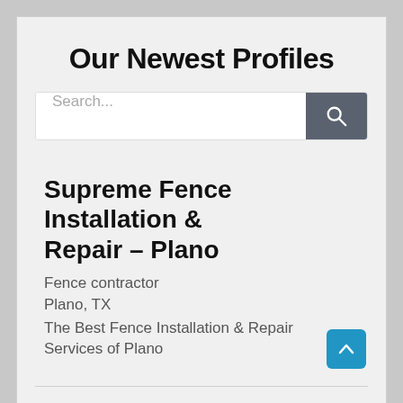Our Newest Profiles
[Figure (screenshot): Search bar with text input placeholder 'Search...' and a dark grey search button with magnifying glass icon]
Supreme Fence Installation & Repair – Plano
Fence contractor
Plano, TX
The Best Fence Installation & Repair Services of Plano